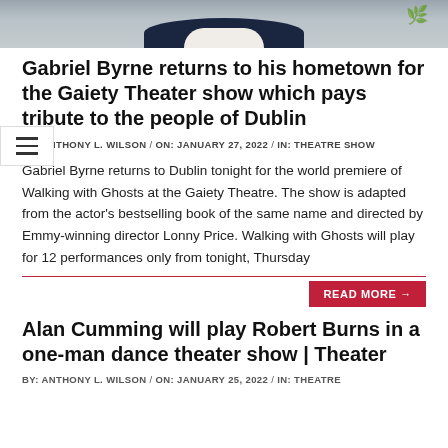[Figure (photo): Partial photo of a man in a dark navy jacket and white collar, with decorative leaf motif in the upper right corner, cropped to show top of head/shoulders only]
Gabriel Byrne returns to his hometown for the Gaiety Theater show which pays tribute to the people of Dublin
BY: ANTHONY L. WILSON / ON: JANUARY 27, 2022 / IN: THEATRE SHOW
Gabriel Byrne returns to Dublin tonight for the world premiere of Walking with Ghosts at the Gaiety Theatre. The show is adapted from the actor's bestselling book of the same name and directed by Emmy-winning director Lonny Price. Walking with Ghosts will play for 12 performances only from tonight, Thursday
READ MORE →
Alan Cumming will play Robert Burns in a one-man dance theater show | Theater
BY: ANTHONY L. WILSON / ON: JANUARY 25, 2022 / IN: THEATRE